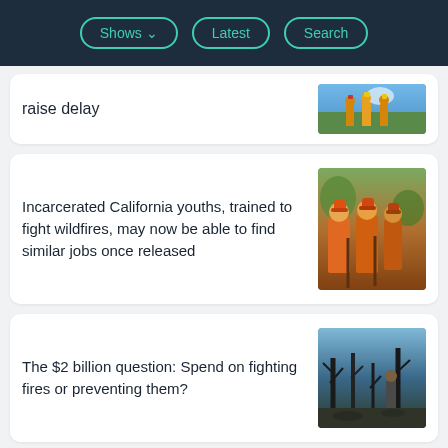Shows  Latest  Search
raise delay
[Figure (photo): Firefighters in yellow gear standing in a line against a blue sky with trees]
Incarcerated California youths, trained to fight wildfires, may now be able to find similar jobs once released
[Figure (photo): Three people in orange firefighter gear and helmets standing together outdoors]
The $2 billion question: Spend on fighting fires or preventing them?
[Figure (photo): A person standing among burned trees and debris in a fire-devastated landscape]
WHAT'S NEXT